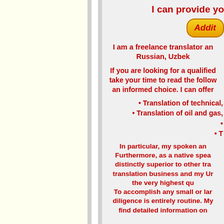I can provide yo
[Figure (other): Yellow gradient button with red italic text 'Addit']
I am a freelance translator an Russian, Uzbek
If you are looking for a qualified take your time to read the follow an informed choice. I can offer
• Translation of technical,
• Translation of oil and gas,
•
• T
In particular, my spoken an Furthermore, as a native spea distinctly superior to other tra translation business and my Ur the very highest qu To accomplish any small or lar diligence is entirely routine. My find detailed information on